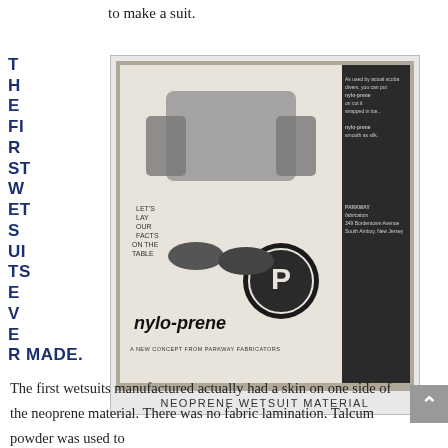to make a suit.
THE FIRST WETSUITS EVER MADE.
[Figure (photo): Black and white advertisement for nylo-prene neoprene wetsuit material by Parkway Fabricators, showing wetsuit pieces and the nylo-prene logo.]
NEOPRENE WETSUIT MATERIAL
The first wetsuits manufactured actually had a skin on one side of the neoprene material. There was no fabric lamination. Talcum powder was used to